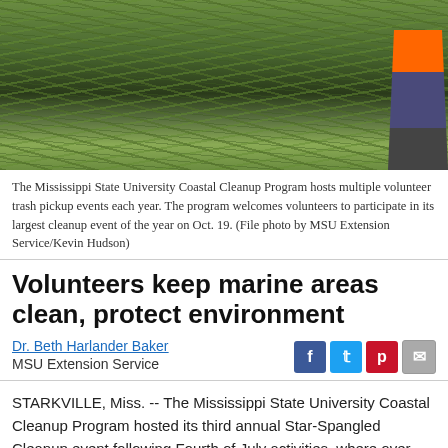[Figure (photo): Volunteers walking through marsh/wetland grassland area during coastal cleanup, with one person visible on the right wearing orange and grey clothing]
The Mississippi State University Coastal Cleanup Program hosts multiple volunteer trash pickup events each year. The program welcomes volunteers to participate in its largest cleanup event of the year on Oct. 19. (File photo by MSU Extension Service/Kevin Hudson)
Volunteers keep marine areas clean, protect environment
Dr. Beth Harlander Baker
MSU Extension Service
STARKVILLE, Miss. -- The Mississippi State University Coastal Cleanup Program hosted its third annual Star-Spangled Cleanup event following Fourth of July activities, where over 100 volunteers participated in picking up trash from beaches along the Mississippi